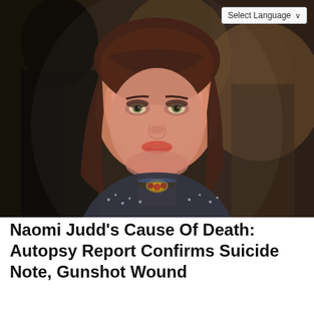[Figure (photo): Portrait photo of a woman with dark reddish-brown hair, wearing a sparkly dark jacket and decorative necklace, looking at camera with blurred background of people]
Naomi Judd's Cause Of Death: Autopsy Report Confirms Suicide Note, Gunshot Wound